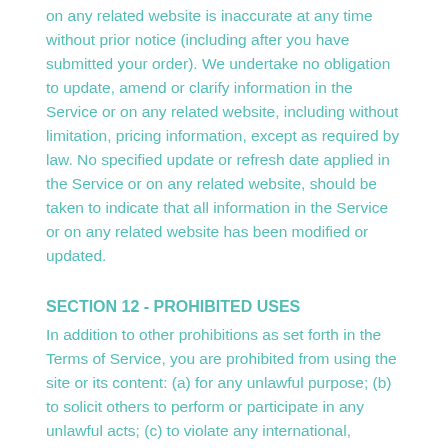on any related website is inaccurate at any time without prior notice (including after you have submitted your order). We undertake no obligation to update, amend or clarify information in the Service or on any related website, including without limitation, pricing information, except as required by law. No specified update or refresh date applied in the Service or on any related website, should be taken to indicate that all information in the Service or on any related website has been modified or updated.
SECTION 12 - PROHIBITED USES
In addition to other prohibitions as set forth in the Terms of Service, you are prohibited from using the site or its content: (a) for any unlawful purpose; (b) to solicit others to perform or participate in any unlawful acts; (c) to violate any international, federal, provincial or state regulations, rules, laws, or local ordinances; (d) to infringe upon or violate our intellectual property rights or the intellectual property rights of others; (e) to harass, abuse, insult, harm, defame, slander, disparage, intimidate, or discriminate based on gender, sexual orientation,